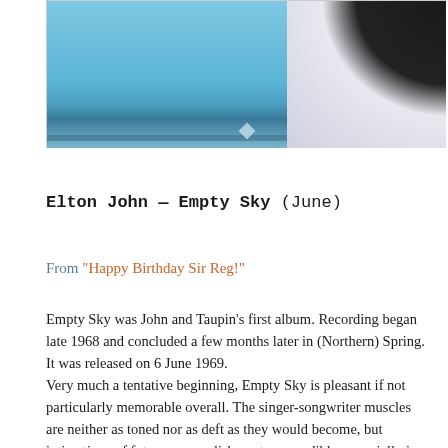[Figure (photo): Album cover photo showing a blue/teal colored panel on the left and a black circular shape (vinyl record) on the right against a light lavender background.]
Elton John — Empty Sky (June)
From "Happy Birthday Sir Reg!"
Empty Sky was John and Taupin's first album. Recording began late 1968 and concluded a few months later in (Northern) Spring. It was released on 6 June 1969.
Very much a tentative beginning, Empty Sky is pleasant if not particularly memorable overall. The singer-songwriter muscles are neither as toned nor as deft as they would become, but intimations of future accomplishments are audible, especially in the opening title cut and "Skyline Pigeon".
The sound of the album is a bit of a mish-mash, amply illustrated by "Empty Sky". The arrangement boasts a robust rock sound, as befits a song about being imprisoned. Yet little touches—the